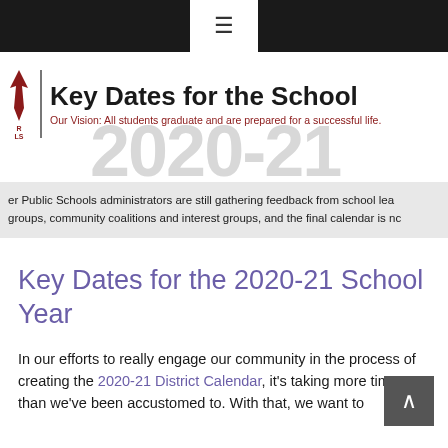≡ (navigation menu icon)
[Figure (logo): School district logo with flame/arrow icon, vertical divider line, header title 'Key Dates for the School' and subtitle 'Our Vision: All students graduate and are prepared for a successful life.' with watermark text '2020-21' in background]
er Public Schools administrators are still gathering feedback from school lea groups, community coalitions and interest groups, and the final calendar is nc
Key Dates for the 2020-21 School Year
In our efforts to really engage our community in the process of creating the 2020-21 District Calendar, it's taking more time than we've been accustomed to. With that, we want to